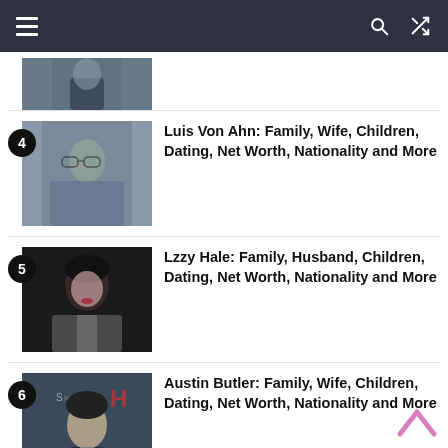Navigation bar with menu, search, and shuffle icons
[Figure (photo): Partial thumbnail of a person in a suit (entry above item 4)]
4 Luis Von Ahn: Family, Wife, Children, Dating, Net Worth, Nationality and More
5 Lzzy Hale: Family, Husband, Children, Dating, Net Worth, Nationality and More
6 Austin Butler: Family, Wife, Children, Dating, Net Worth, Nationality and More